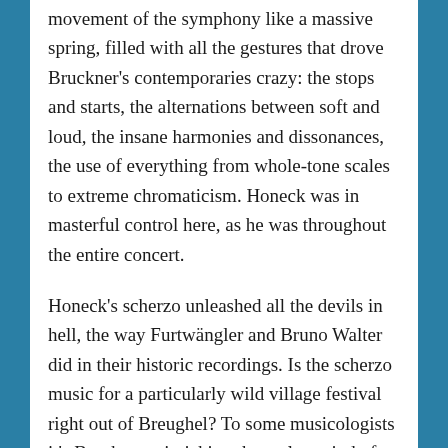movement of the symphony like a massive spring, filled with all the gestures that drove Bruckner's contemporaries crazy: the stops and starts, the alternations between soft and loud, the insane harmonies and dissonances, the use of everything from whole-tone scales to extreme chromaticism. Honeck was in masterful control here, as he was throughout the entire concert.
Honeck's scherzo unleashed all the devils in hell, the way Furtwängler and Bruno Walter did in their historic recordings. Is the scherzo music for a particularly wild village festival right out of Breughel? To some musicologists it's Bruckner mimicking the early period of industrialization—the thundering, pounding rhythms imitating the increasingly developed machines.